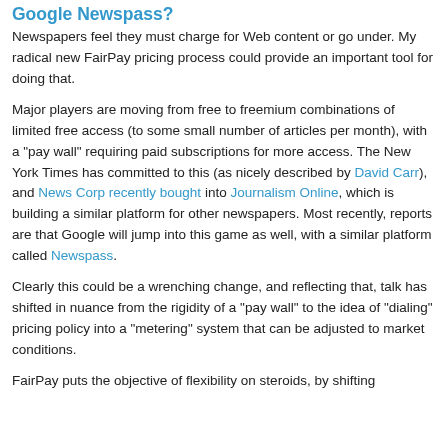Google Newspass?
Newspapers feel they must charge for Web content or go under. My radical new FairPay pricing process could provide an important tool for doing that.
Major players are moving from free to freemium combinations of limited free access (to some small number of articles per month), with a "pay wall" requiring paid subscriptions for more access. The New York Times has committed to this (as nicely described by David Carr), and News Corp recently bought into Journalism Online, which is building a similar platform for other newspapers. Most recently, reports are that Google will jump into this game as well, with a similar platform called Newspass.
Clearly this could be a wrenching change, and reflecting that, talk has shifted in nuance from the rigidity of a "pay wall" to the idea of "dialing" pricing policy into a "metering" system that can be adjusted to market conditions.
FairPay puts the objective of flexibility on steroids, by shifting